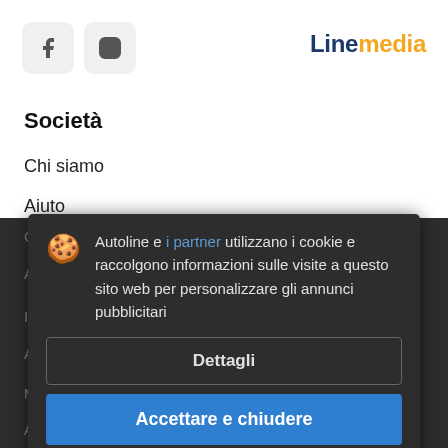[Figure (logo): Facebook and Instagram social icon buttons (rounded square gray icons)]
Linemedia
Società
Chi siamo
Aiuto
Contatti
Autoline e i partner utilizzano i cookie e raccolgono informazioni sulle visite a questo sito web per personalizzare gli annunci pubblicitari
I nostri prodotti
Autoline
Dettagli
Accettare e chiudere
Aggiusta®